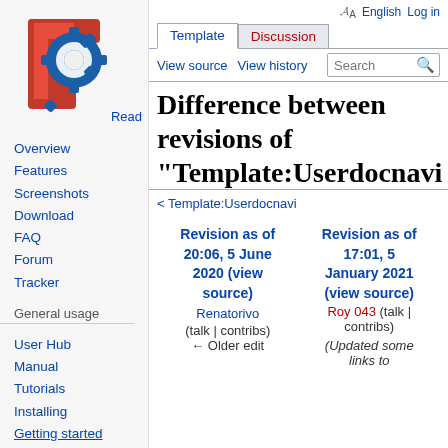[Figure (logo): FreeCAD logo: red F letter with blue gear icon]
𝓐A English  Log in
Template  Discussion  Read  View source  View history  Search
Difference between revisions of "Template:Userdocnavi"
< Template:Userdocnavi
Overview
Features
Screenshots
Download
FAQ
Forum
Tracker
General usage
User Hub
Manual
Tutorials
Installing
Getting started
| Revision as of 20:06, 5 June 2020 (view source) | Revision as of 17:01, 5 January 2021 (view source) |
| --- | --- |
| Renatorivo (talk | contribs) | Roy 043 (talk | contribs) |
| ← Older edit | (Updated some links to |